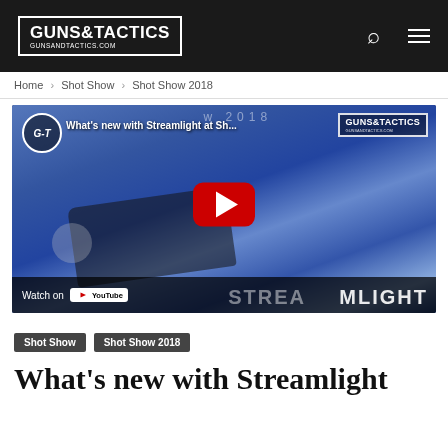GUNS&TACTICS GUNSANDTACTICS.COM
Home › Shot Show › Shot Show 2018
[Figure (screenshot): YouTube video thumbnail showing a Streamlight weapon-mounted flashlight on a blue handgun. Title reads 'What's new with Streamlight at Sh...' with a red YouTube play button and 'Watch on YouTube' bar at the bottom. Guns & Tactics logo watermark in upper right. STREAMLIGHT branding at bottom right.]
Shot Show
Shot Show 2018
What's new with Streamlight